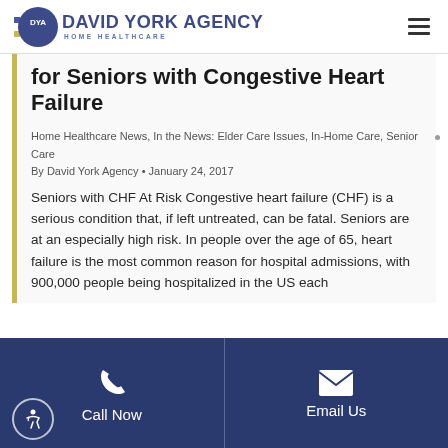DYA David York Agency Home Healthcare
for Seniors with Congestive Heart Failure
Home Healthcare News, In the News: Elder Care Issues, In-Home Care, Senior Care
By David York Agency • January 24, 2017
Seniors with CHF At Risk Congestive heart failure (CHF) is a serious condition that, if left untreated, can be fatal. Seniors are at an especially high risk. In people over the age of 65, heart failure is the most common reason for hospital admissions, with 900,000 people being hospitalized in the US each
Call Now  Email Us